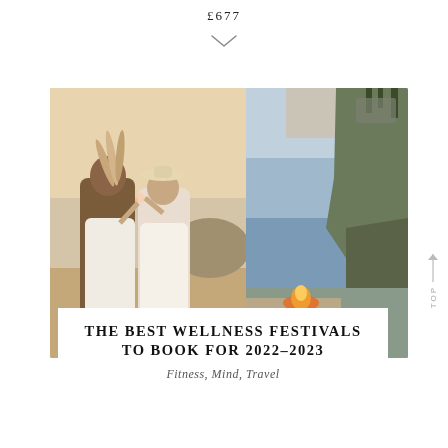£677
[Figure (photo): Two women in white dresses on a beach at golden hour, toasting with drinks and holding feathered accessories]
[Figure (photo): Rocky coastal cliffside at dusk with a fire pit and cushioned seating area on the beach below]
THE BEST WELLNESS FESTIVALS TO BOOK FOR 2022–2023
Fitness, Mind, Travel